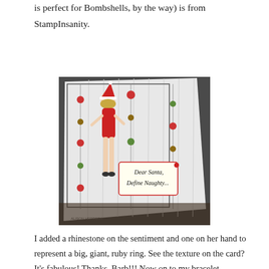is perfect for Bombshells, by the way) is from StampInsanity.
[Figure (photo): A handmade Christmas card featuring a pin-up style woman in a red swimsuit and Santa hat, with decorative circles on strings, and a tag that reads 'Dear Santa, Define Naughty...' Watermark reads Alison Herrera.]
I added a rhinestone on the sentiment and one on her hand to represent a big, giant, ruby ring. See the texture on the card? It's fabulous! Thanks, Barb!!! Now on to my bracelet...
[Figure (photo): Close-up photo of a wrist wearing a decorative bracelet, shown against a dark background.]